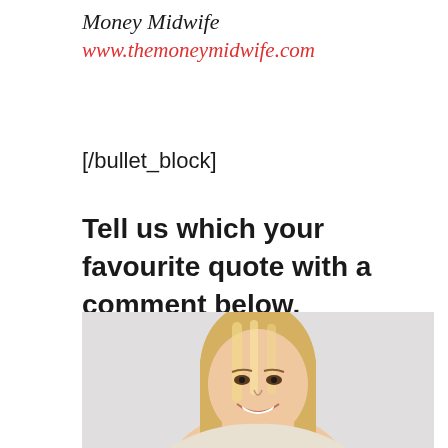Money Midwife
www.themoneymidwife.com
[/bullet_block]
Tell us which your favourite quote with a comment below.
[Figure (photo): Professional headshot of a smiling blonde woman against a light grey background]